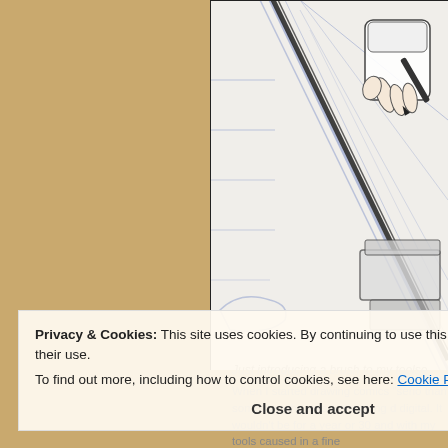[Figure (illustration): Comic/illustration sketch showing a hand holding a brush or pen, drawing comic panels in perspective, with blue pencil lines and black ink on white paper.]
Privacy & Cookies: This site uses cookies. By continuing to use this website, you agree to their use. To find out more, including how to control cookies, see here: Cookie Policy
Close and accept
Just introducing a brush to my toolse
When I started drawing comics "serio than someone who was not making d digital. It wouldn't be for a year or 30 and with my tools caused in a fine